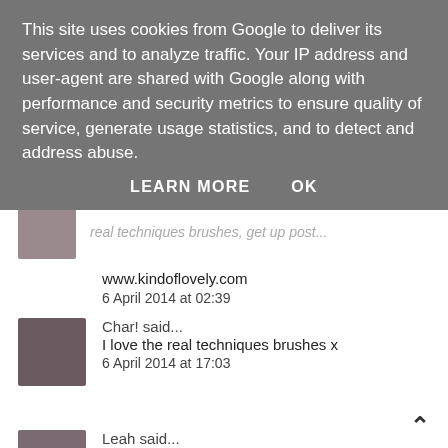This site uses cookies from Google to deliver its services and to analyze traffic. Your IP address and user-agent are shared with Google along with performance and security metrics to ensure quality of service, generate usage statistics, and to detect and address abuse.
LEARN MORE   OK
www.kindoflovely.com
6 April 2014 at 02:39
Char! said...
I love the real techniques brushes x
6 April 2014 at 17:03
Leah said...
Best brushes I've ever tried. Love your post! Check out my blog http://leahpaigejones.blogspot.co.uk/

xx
7 April 2014 at 11:18